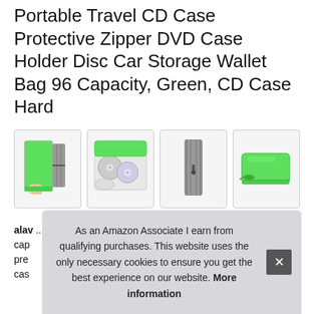Portable Travel CD Case Protective Zipper DVD Case Holder Disc Car Storage Wallet Bag 96 Capacity, Green, CD Case Hard
[Figure (photo): Four product thumbnail images of a green CD/DVD case: (1) hand holding open zipper case showing green exterior and grey interior, (2) open case showing multiple CDs/DVDs stored inside, (3) closed case standing upright showing zipper edge, (4) closed case lying flat showing green exterior with pull tab.]
alaw... trav... cap... pre... cas...
As an Amazon Associate I earn from qualifying purchases. This website uses the only necessary cookies to ensure you get the best experience on our website. More information